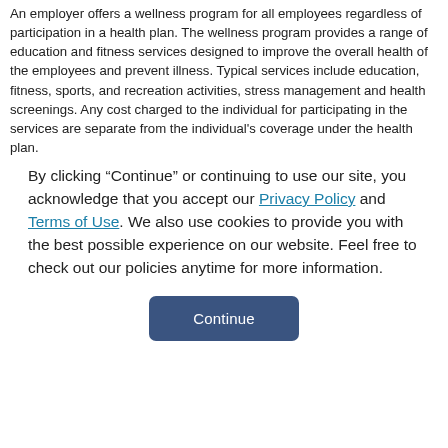An employer offers a wellness program for all employees regardless of participation in a health plan. The wellness program provides a range of education and fitness services designed to improve the overall health of the employees and prevent illness. Typical services include education, fitness, sports, and recreation activities, stress management and health screenings. Any cost charged to the individual for participating in the services are separate from the individual's coverage under the health plan.
By clicking "Continue" or continuing to use our site, you acknowledge that you accept our Privacy Policy and Terms of Use. We also use cookies to provide you with the best possible experience on our website. Feel free to check out our policies anytime for more information.